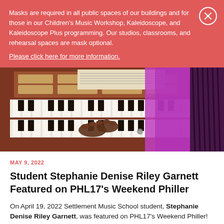Masks are required in all public spaces of our buildings and for those in our Children's Music Workshop, Kaleidoscope, and Kaleidoscope Plus programming. Our studios, classrooms, and rehearsal spaces are mask optional. Please click here for more information.
[Figure (photo): Close-up photo of hands playing a pipe organ keyboard, with sheet music above the keys and a bright purple/magenta fabric or garment visible on the right side. The organ has multiple manuals (keyboards) visible.]
MAY 9, 2022
Student Stephanie Denise Riley Garnett Featured on PHL17's Weekend Philler
On April 19, 2022 Settlement Music School student, Stephanie Denise Riley Garnett, was featured on PHL17's Weekend Philler!